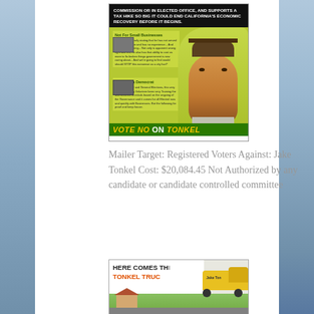[Figure (photo): Political mailer against Jake Tonkel showing text 'COMMISSION OR IN ELECTED OFFICE, AND SUPPORTS A TAX HIKE SO BIG IT COULD END CALIFORNIA'S ECONOMIC RECOVERY BEFORE IT BEGINS.' with sections 'Not For Small Businesses' and 'Not Even a Democrat', a photo of a young man, and a 'VOTE NO on TONKEL' bar at the bottom in green and yellow]
Mailer Target: Registered Voters Against: Jake Tonkel Cost: $20,084.45 Not Authorized by any candidate or candidate controlled committee
[Figure (photo): Political mailer showing 'HERE COMES TH TONKEL TRUC' (text cut off) in bold black and orange letters, with an illustration of a yellow truck labeled 'Jake Ton' (cut off) driving through a neighborhood]